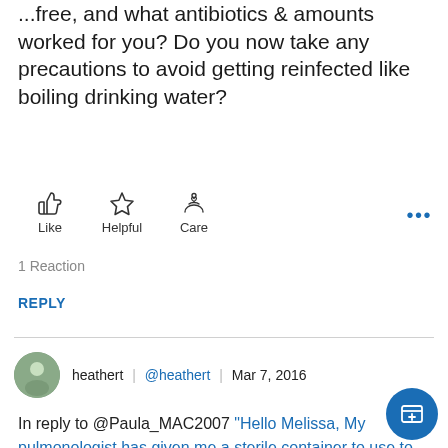...free, and what antibiotics & amounts worked for you? Do you now take any precautions to avoid getting reinfected like boiling drinking water?
[Figure (infographic): Three reaction buttons: Like (thumbs up icon), Helpful (star icon), Care (hand with heart icon), plus a three-dot more button]
1 Reaction
REPLY
heathert | @heathert | Mar 7, 2016
In reply to @Paula_MAC2007 "Hello Melissa, My pulmonologist has given me a sterile container to use to collect sputum, and..." + (show)
Hi thanks for all your posts, does the